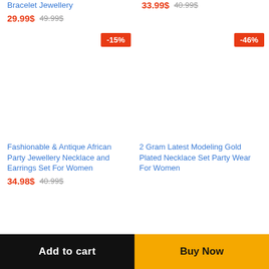Bracelet Jewellery
29.99$  49.99$
33.99$  40.99$
-15%
-46%
Fashionable & Antique African Party Jewellery Necklace and Earrings Set For Women
34.98$  40.99$
2 Gram Latest Modeling Gold Plated Necklace Set Party Wear For Women
Add to cart
Buy Now